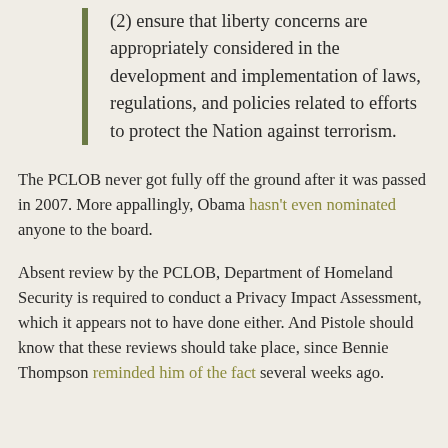(2) ensure that liberty concerns are appropriately considered in the development and implementation of laws, regulations, and policies related to efforts to protect the Nation against terrorism.
The PCLOB never got fully off the ground after it was passed in 2007. More appallingly, Obama hasn't even nominated anyone to the board.
Absent review by the PCLOB, Department of Homeland Security is required to conduct a Privacy Impact Assessment, which it appears not to have done either. And Pistole should know that these reviews should take place, since Bennie Thompson reminded him of the fact several weeks ago.